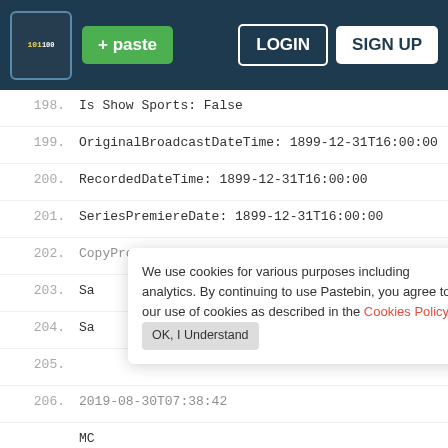Pastebin navigation bar with logo, paste button, LOGIN and SIGN UP buttons
198. Is Show Sports: False
199. OriginalBroadcastDateTime: 1899-12-31T16:00:00
200. RecordedDateTime: 1899-12-31T16:00:00
201. SeriesPremiereDate: 1899-12-31T16:00:00
202. CopyProtected: False
203. Sa
204. Sa
205.
206. 2019-08-30T07:38:42
MC
ma
Fl
2019-08-30T07:59:43
We use cookies for various purposes including analytics. By continuing to use Pastebin, you agree to our use of cookies as described in the Cookies Policy.  OK, I Understand
Not a member of Pastebin yet? Sign Up, it unlocks many cool features!
[Figure (other): Tally app advertisement - Fast credit card payoff]
Fast credit card payoff